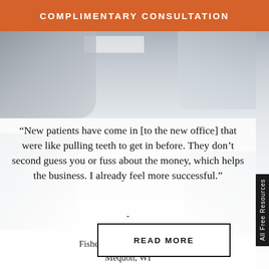COMPLIMENTARY CONSULTATION
[Figure (photo): Background photo of a chiropractic or medical office interior with blurred figures of people, light ceiling panels, modern interior.]
“New patients have come in [to the new office] that were like pulling teeth to get in before. They don’t second guess you or fuss about the money, which helps the business. I already feel more successful.”
- Dr. Fisher Fisher Family Chiropractic Mequon, WI
READ MORE